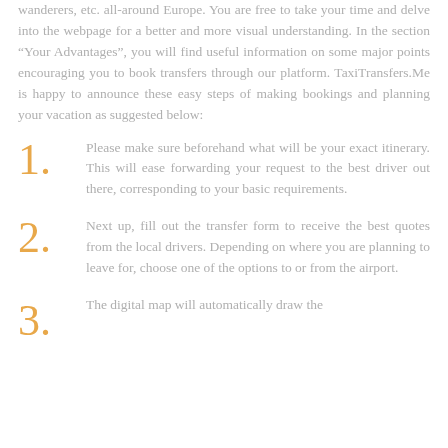wanderers, etc. all-around Europe. You are free to take your time and delve into the webpage for a better and more visual understanding. In the section “Your Advantages”, you will find useful information on some major points encouraging you to book transfers through our platform. TaxiTransfers.Me is happy to announce these easy steps of making bookings and planning your vacation as suggested below:
1. Please make sure beforehand what will be your exact itinerary. This will ease forwarding your request to the best driver out there, corresponding to your basic requirements.
2. Next up, fill out the transfer form to receive the best quotes from the local drivers. Depending on where you are planning to leave for, choose one of the options to or from the airport.
3. The digital map will automatically draw the